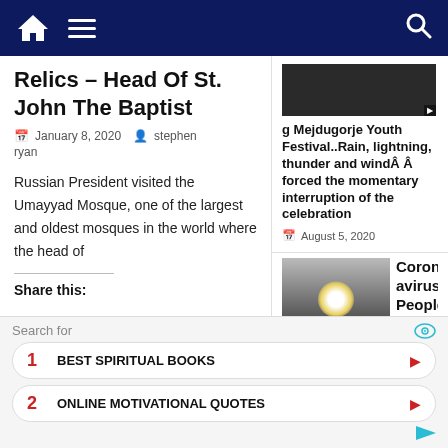Navigation bar with home, menu, and search icons
Relics – Head Of St. John The Baptist
January 8, 2020  stephen ryan
Russian President visited the Umayyad Mosque, one of the largest and oldest mosques in the world where the head of
Share this:
g Mejdugorje Youth Festival..Rain, lightning, thunder and windÂ Â forced the momentary interruption of the celebration
August 5, 2020
[Figure (screenshot): Thumbnail image for Mejdugorje article]
[Figure (screenshot): Thumbnail image showing sun/light phenomenon for Coronavirus article]
Coronavirus: People are asking if the world-
Search for
1  BEST SPIRITUAL BOOKS
2  ONLINE MOTIVATIONAL QUOTES